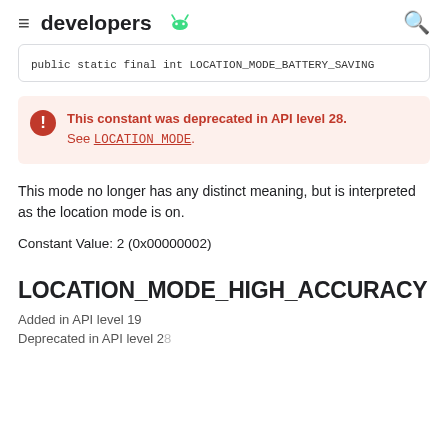developers
public static final int LOCATION_MODE_BATTERY_SAVING
This constant was deprecated in API level 28. See LOCATION_MODE.
This mode no longer has any distinct meaning, but is interpreted as the location mode is on.
Constant Value: 2 (0x00000002)
LOCATION_MODE_HIGH_ACCURACY
Added in API level 19
Deprecated in API level 28